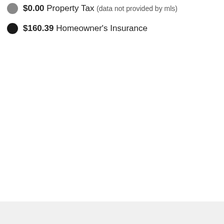$0.00 Property Tax (data not provided by mls)
$160.39 Homeowner's Insurance